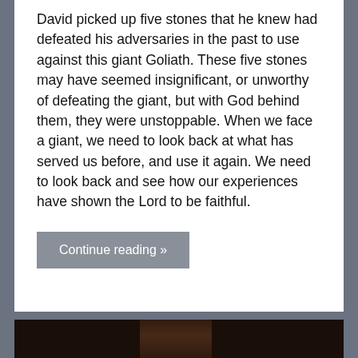David picked up five stones that he knew had defeated his adversaries in the past to use against this giant Goliath. These five stones may have seemed insignificant, or unworthy of defeating the giant, but with God behind them, they were unstoppable. When we face a giant, we need to look back at what has served us before, and use it again. We need to look back and see how our experiences have shown the Lord to be faithful.
Continue reading »
[Figure (photo): Dark photograph, partially visible at the bottom of the page, showing a dimly lit scene.]